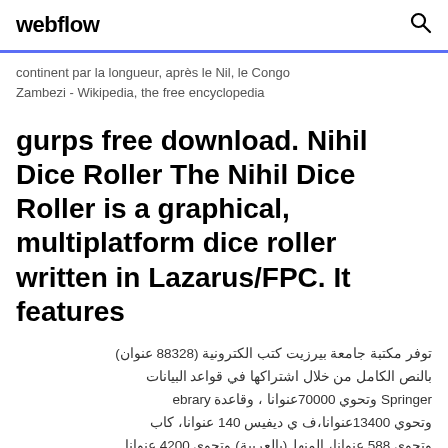webflow
continent par la longueur, après le Nil, le Congo
Zambezi - Wikipedia, the free encyclopedia
gurps free download. Nihil Dice Roller The Nihil Dice Roller is a graphical, multiplatform dice roller written in Lazarus/FPC. It features
توفر مكتبة جامعة بيرزيت كتب الكترونية (88328 عنوان) بالنص الكامل من خلال اشتراكها في قواعد البيانات Springer وتحوي 70000عنوانا ، وقاعدة ebrary وتحوي 13400عنوانا،ف ي ديفيس 140 عنوانا، كاب وتحوي 588 عنوانا، المنهل(بالعربية) وتحوي 4200 عنوانا
Mar 10, 2020 · Updated for GURPS 4th Edition,